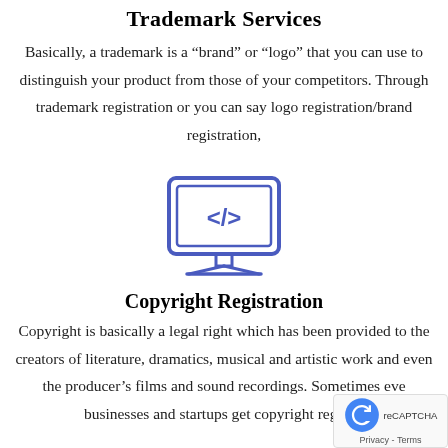Trademark Services
Basically, a trademark is a “brand” or “logo” that you can use to distinguish your product from those of your competitors. Through trademark registration or you can say logo registration/brand registration,
[Figure (illustration): Icon of a computer monitor with a code/markup symbol </> on the screen, outlined in blue, with a monitor stand]
Copyright Registration
Copyright is basically a legal right which has been provided to the creators of literature, dramatics, musical and artistic work and even the producer’s films and sound recordings. Sometimes even businesses and startups get copyright registra